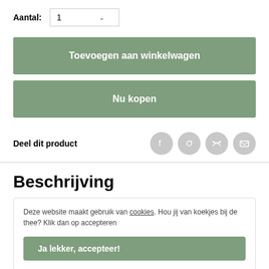Aantal: 1
Toevoegen aan winkelwagen
Nu kopen
Deel dit product
Beschrijving
Deze website maakt gebruik van cookies. Hou jij van koekjes bij de thee? Klik dan op accepteren
Ja lekker, accepteer!
Canasuc gebruikt de beste kwaliteit rietsuiker, die ze in prachtige